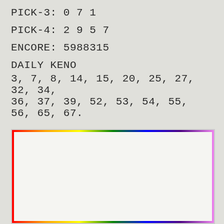PICK-3: 0 7 1
PICK-4: 2 9 5 7
ENCORE: 5988315
DAILY KENO
3, 7, 8, 14, 15, 20, 25, 27, 32, 34, 36, 37, 39, 52, 53, 54, 55, 56, 65, 67.
[Figure (infographic): LotteryCharms.com advertisement. Shows pot of gold icon, LotteryCharms.com logo in green/red badge, headline 'The 3 P's of Winning or Success', subhead 'Ideal for Lottery Players', 'Belief + Attitude + An Item of LUCK (maybe a Lottery Charm®)', AS SEEN ON TV badge, starburst with 'May Yield Results', and a Lucky Coin image.]